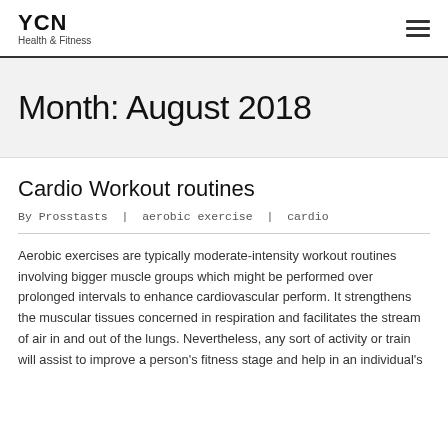YCN Health & Fitness
Month: August 2018
Cardio Workout routines
By Prosstasts | aerobic exercise | cardio
Aerobic exercises are typically moderate-intensity workout routines involving bigger muscle groups which might be performed over prolonged intervals to enhance cardiovascular perform. It strengthens the muscular tissues concerned in respiration and facilitates the stream of air in and out of the lungs. Nevertheless, any sort of activity or train will assist to improve a person's fitness stage and help in an individual's